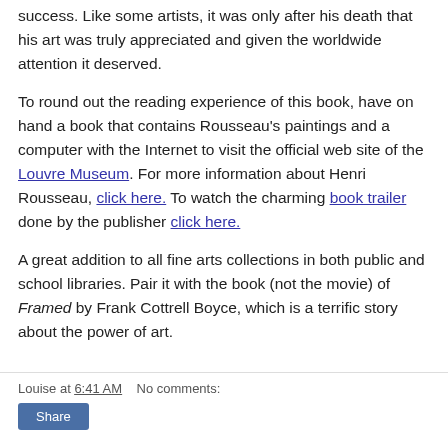success. Like some artists, it was only after his death that his art was truly appreciated and given the worldwide attention it deserved.
To round out the reading experience of this book, have on hand a book that contains Rousseau's paintings and a computer with the Internet to visit the official web site of the Louvre Museum. For more information about Henri Rousseau, click here. To watch the charming book trailer done by the publisher click here.
A great addition to all fine arts collections in both public and school libraries. Pair it with the book (not the movie) of Framed by Frank Cottrell Boyce, which is a terrific story about the power of art.
Louise at 6:41 AM   No comments:  Share